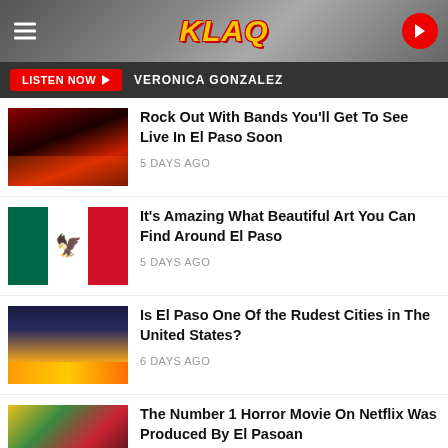KLAQ
LISTEN NOW   VERONICA GONZALEZ
Rock Out With Bands You'll Get To See Live In El Paso Soon
5 DAYS AGO
It's Amazing What Beautiful Art You Can Find Around El Paso
5 DAYS AGO
Is El Paso One Of the Rudest Cities in The United States?
6 DAYS AGO
The Number 1 Horror Movie On Netflix Was Produced By El Pasoan
6 DAYS AGO